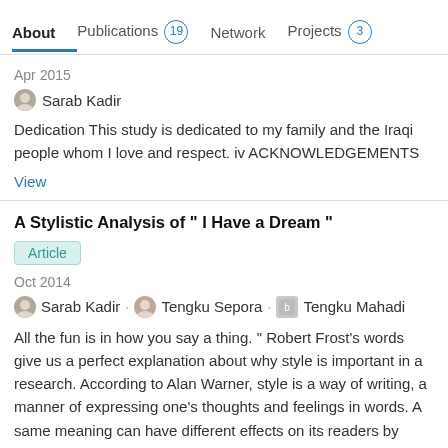About  Publications 19  Network  Projects 3
Apr 2015
Sarab Kadir
Dedication This study is dedicated to my family and the Iraqi people whom I love and respect. iv ACKNOWLEDGEMENTS
View
A Stylistic Analysis of " I Have a Dream "
Article
Oct 2014
Sarab Kadir · Tengku Sepora · Tengku Mahadi
All the fun is in how you say a thing. " Robert Frost's words give us a perfect explanation about why style is important in a research. According to Alan Warner, style is a way of writing, a manner of expressing one's thoughts and feelings in words. A same meaning can have different effects on its readers by being put in different ways. This paper...
View